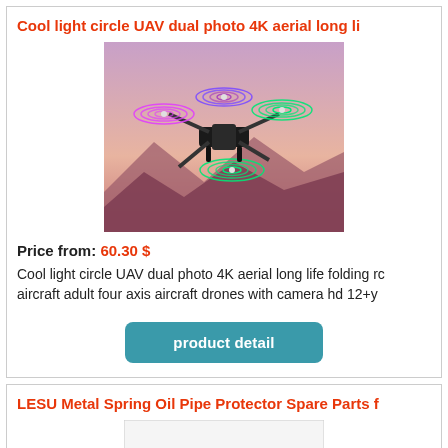Cool light circle UAV dual photo 4K aerial long li
[Figure (photo): A drone with glowing light circles (purple and green) on each propeller arm, flying over a pink/purple scenic landscape.]
Price from: 60.30 $
Cool light circle UAV dual photo 4K aerial long life folding rc aircraft adult four axis aircraft drones with camera hd 12+y
product detail
LESU Metal Spring Oil Pipe Protector Spare Parts f